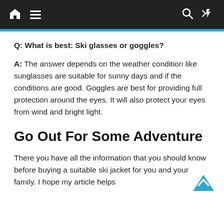Navigation bar with home, menu, search, and shuffle icons
Q: What is best: Ski glasses or goggles?
A: The answer depends on the weather condition like sunglasses are suitable for sunny days and if the conditions are good. Goggles are best for providing full protection around the eyes. It will also protect your eyes from wind and bright light.
Go Out For Some Adventure
There you have all the information that you should know before buying a suitable ski jacket for you and your family. I hope my article helps